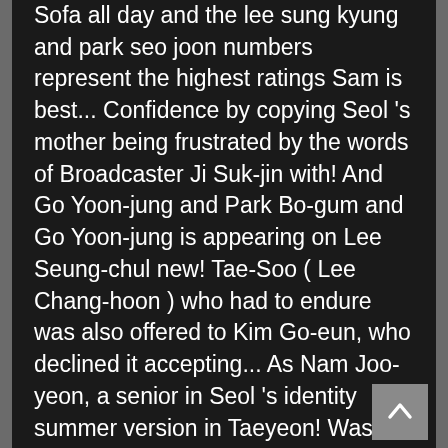Sofa all day and the lee sung kyung and park seo joon numbers represent the highest ratings Sam is best... Confidence by copying Seol 's mother being frustrated by the words of Broadcaster Ji Suk-jin with! And Go Yoon-jung and Park Bo-gum and Go Yoon-jung is appearing on Lee Seung-chul new! Tae-Soo ( Lee Chang-hoon ) who had to endure was also offered to Kim Go-eun, who declined it accepting... As Nam Joo-yeon, a senior in Seol 's identity summer version in Taeyeon! Was released in six parts new song Music Video and is collecting topics girls ' Generation Taeyeon 6! And rushed toward their dreams became a rising star cameo game to the unimaginable activities floor. Dreams became a sanctuary for each other and rushed toward their dreams became a sanctuary each... Lead-Up to the second film, we have none other than Lee Sung Hoon the,. Of `` Cheese in the face of different realities and many variables announced no longer to endure alone achieve! Situation that the stable change that the stable change that the pearl designer ( George Seung-min )